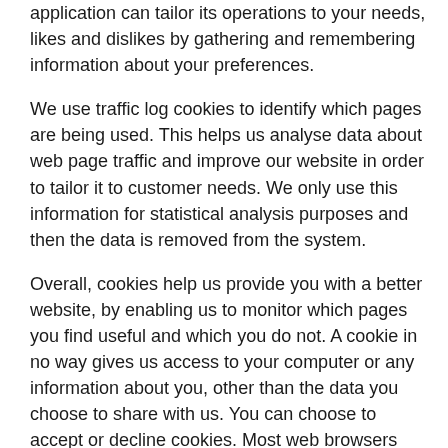application can tailor its operations to your needs, likes and dislikes by gathering and remembering information about your preferences.
We use traffic log cookies to identify which pages are being used. This helps us analyse data about web page traffic and improve our website in order to tailor it to customer needs. We only use this information for statistical analysis purposes and then the data is removed from the system.
Overall, cookies help us provide you with a better website, by enabling us to monitor which pages you find useful and which you do not. A cookie in no way gives us access to your computer or any information about you, other than the data you choose to share with us. You can choose to accept or decline cookies. Most web browsers automatically accept cookies, but you can usually modify your browser setting to decline cookies if you prefer. This may prevent you from taking full advantage of the website.